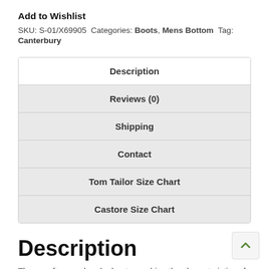Add to Wishlist
SKU: S-01/X69905 Categories: Boots, Mens Bottom Tag:
Canterbury
Description
Reviews (0)
Shipping
Contact
Tom Tailor Size Chart
Castore Size Chart
Description
These soft ground rugby boots combine the characteristics of a power player with subtle agility, making them perfect for the